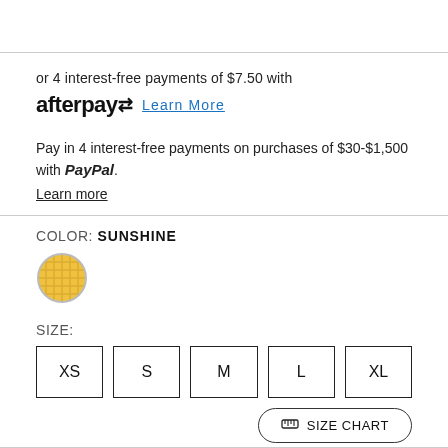or 4 interest-free payments of $7.50 with
afterpay  Learn More
Pay in 4 interest-free payments on purchases of $30-$1,500 with PayPal.
Learn more
COLOR: SUNSHINE
[Figure (photo): Round color swatch showing sunshine/yellow color]
SIZE:
XS  S  M  L  XL
SIZE CHART